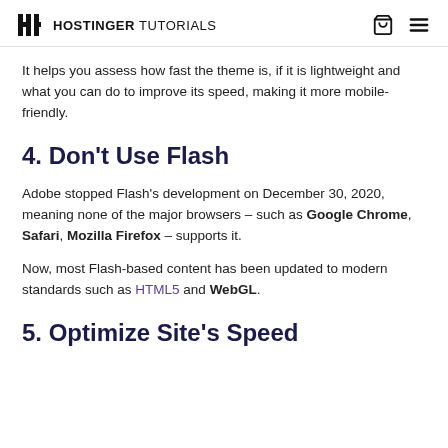HOSTINGER TUTORIALS
It helps you assess how fast the theme is, if it is lightweight and what you can do to improve its speed, making it more mobile-friendly.
4. Don't Use Flash
Adobe stopped Flash's development on December 30, 2020, meaning none of the major browsers – such as Google Chrome, Safari, Mozilla Firefox – supports it.
Now, most Flash-based content has been updated to modern standards such as HTML5 and WebGL.
5. Optimize Site's Speed